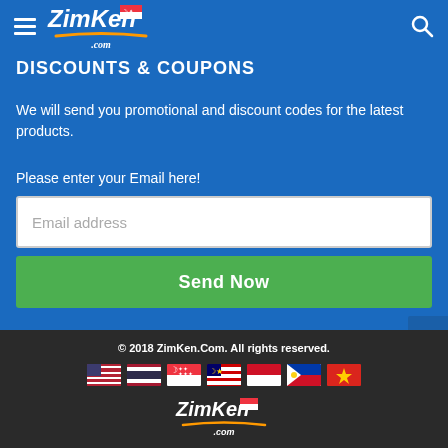ZimKen.com
DISCOUNTS & COUPONS
We will send you promotional and discount codes for the latest products.
Please enter your Email here!
Email address
Send Now
© 2018 ZimKen.Com. All rights reserved.